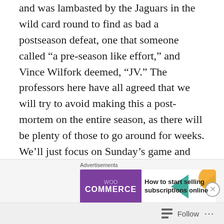and was lambasted by the Jaguars in the wild card round to find as bad a postseason defeat, one that someone called “a pre-season like effort,” and Vince Wilfork deemed, “JV.” The professors here have all agreed that we will try to avoid making this a post-mortem on the entire season, as there will be plenty of those to go around for weeks. We’ll just focus on Sunday’s game and we warn you, it will not be pretty. But before we do, thanks to all who’ve taken the time to read these report cards all year long. It was a rich experience to be able to watch and analyze the game this way and the readership is truly appreciated. So with that in mind, let’s get to the final report card of this
[Figure (other): WooCommerce advertisement banner: 'How to start selling subscriptions online']
Follow ...